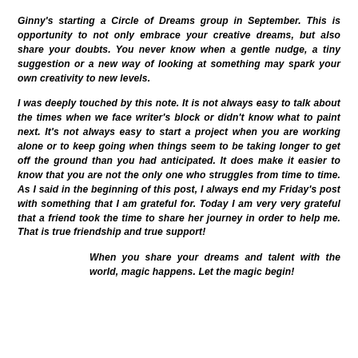Ginny's starting a Circle of Dreams group in September. This is opportunity to not only embrace your creative dreams, but also share your doubts. You never know when a gentle nudge, a tiny suggestion or a new way of looking at something may spark your own creativity to new levels.
I was deeply touched by this note. It is not always easy to talk about the times when we face writer's block or didn't know what to paint next. It's not always easy to start a project when you are working alone or to keep going when things seem to be taking longer to get off the ground than you had anticipated. It does make it easier to know that you are not the only one who struggles from time to time. As I said in the beginning of this post, I always end my Friday's post with something that I am grateful for. Today I am very very grateful that a friend took the time to share her journey in order to help me. That is true friendship and true support!
When you share your dreams and talent with the world, magic happens. Let the magic begin!